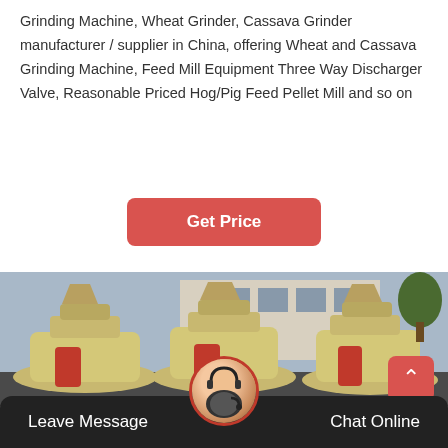Grinding Machine, Wheat Grinder, Cassava Grinder manufacturer / supplier in China, offering Wheat and Cassava Grinding Machine, Feed Mill Equipment Three Way Discharger Valve, Reasonable Priced Hog/Pig Feed Pellet Mill and so on
[Figure (other): Red rounded rectangle button with white bold text 'Get Price']
[Figure (photo): Industrial grinding machines (feed pellet mills) in cream/yellow color with red/orange accents, parked in a factory yard with a building in the background.]
Leave Message   Chat Online